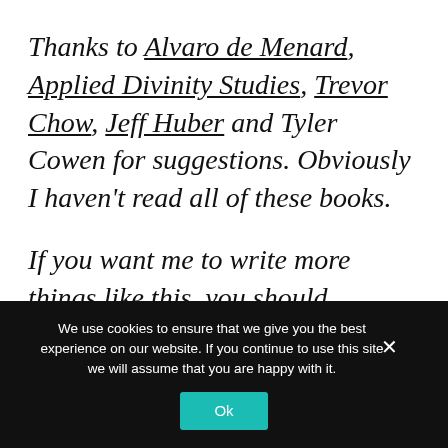Thanks to Alvaro de Menard, Applied Divinity Studies, Trevor Chow, Jeff Huber and Tyler Cowen for suggestions. Obviously I haven't read all of these books.
If you want me to write more things like this, you should subscribe. If there's a great book I've missed, you should email/DM me and let me know.
We use cookies to ensure that we give you the best experience on our website. If you continue to use this site we will assume that you are happy with it. Ok ×